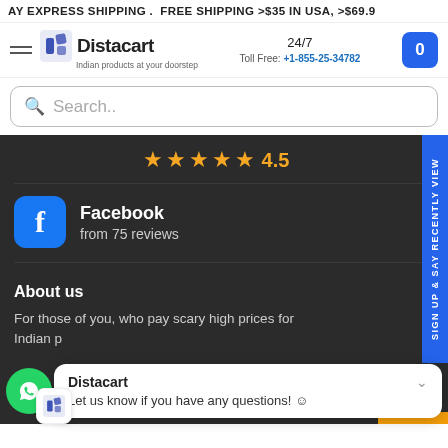AY EXPRESS SHIPPING . FREE SHIPPING >$35 IN USA, >$69.9
Distacart - Indian products at your doorstep | 24/7 Toll Free: +1-855-25-34782
Search..
4.5 stars rating
Facebook from 75 reviews
About us
For those of you, who pay scary high prices for Indian p
Distacart
Let us know if you have any questions! 😊